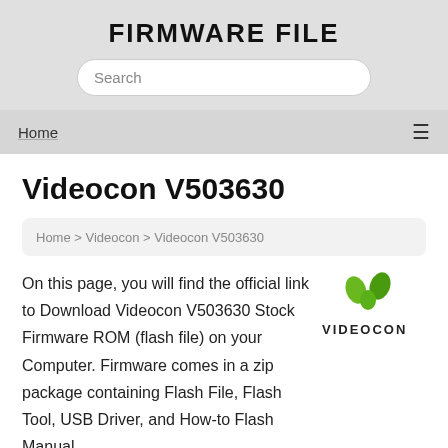FIRMWARE FILE
Search
Home
Videocon V503630
Home > Videocon > Videocon V503630
[Figure (logo): Videocon brand logo with green stylized V-shape and VIDEOCON text in bold]
On this page, you will find the official link to Download Videocon V503630 Stock Firmware ROM (flash file) on your Computer. Firmware comes in a zip package containing Flash File, Flash Tool, USB Driver, and How-to Flash Manual.